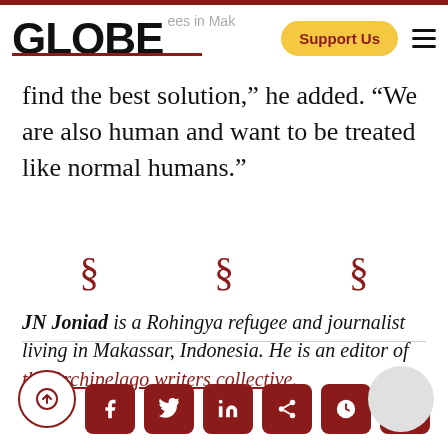GLOBE — Support Us
find the best solution,” he added. “We are also human and want to be treated like normal humans.”
§ § §
JN Joniad is a Rohingya refugee and journalist living in Makassar, Indonesia. He is an editor of the Archipelago writers collective.
Social media sharing icons and scroll-to-top button